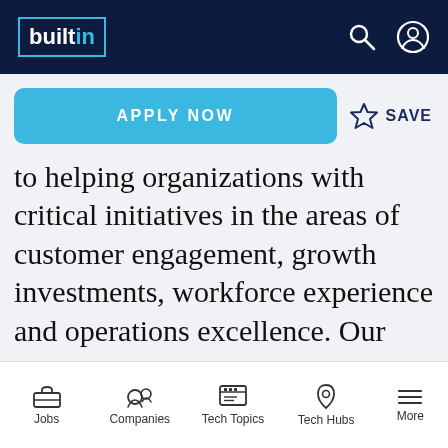builtin (logo) - navigation bar with search and profile icons
APPLY NOW
SAVE
to helping organizations with critical initiatives in the areas of customer engagement, growth investments, workforce experience and operations excellence. Our diverse set of experts spans 13 U.S. locations, with international reach via our partnership with Nextcontinent. We've helped global organizations of all stages and sizes achieve sustainable success by focusing on the humans at the center of change.
Jobs | Companies | Tech Topics | Tech Hubs | More